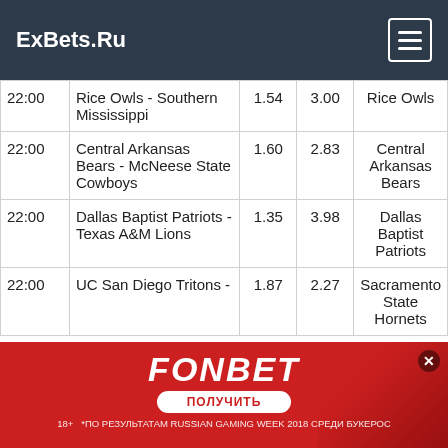ExBets.Ru
| Time | Match | W1 | X | Prediction |
| --- | --- | --- | --- | --- |
| 22:00 | Rice Owls - Southern Mississippi | 1.54 | 3.00 | Rice Owls |
| 22:00 | Central Arkansas Bears - McNeese State Cowboys | 1.60 | 2.83 | Central Arkansas Bears |
| 22:00 | Dallas Baptist Patriots - Texas A&M Lions | 1.35 | 3.98 | Dallas Baptist Patriots |
| 22:00 | UC San Diego Tritons - Sacramento State ... | 1.87 | 2.27 | Sacramento State Hornets |
[Figure (other): FONBET advertisement banner in red with ПОЛУЧИТЬ button and 18+ disclaimer text in Russian]